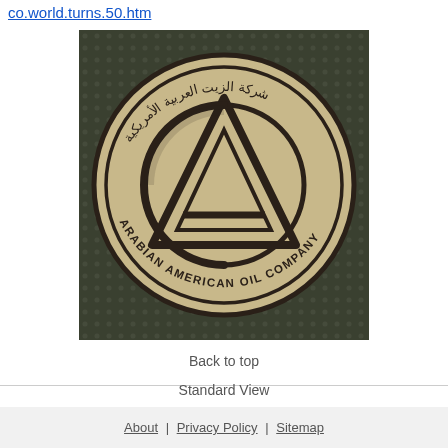co.world.turns.50.htm
[Figure (logo): A circular stamp/logo for Arabian American Oil Company (ARAMCO). The logo features a large circle with Arabic text along the top arc and 'ARABIAN AMERICAN OIL COMPANY' along the bottom arc. In the center is a stylized 'CA' monogram inside a triangle inscribed in a circle. The token appears to be a wooden or cardboard coin/chip with a beige/tan color against a dark textured background.]
Back to top
Standard View
About | Privacy Policy | Sitemap